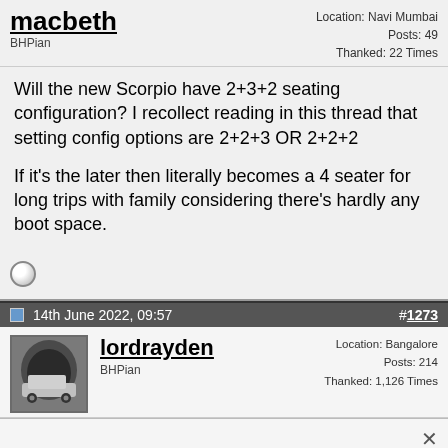macbeth
BHPian
Location: Navi Mumbai
Posts: 49
Thanked: 22 Times
Will the new Scorpio have 2+3+2 seating configuration? I recollect reading in this thread that setting config options are 2+2+3 OR 2+2+2

If it's the later then literally becomes a 4 seater for long trips with family considering there's hardly any boot space.
14th June 2022, 09:57
#1273
[Figure (photo): Avatar photo of lordrayden showing a car in front of a building]
lordrayden
BHPian
Location: Bangalore
Posts: 214
Thanked: 1,126 Times
Quote:
Originally Posted by Venkatesh
New Mahindra Scorpio-N interiors officially revealed in new teaser.
Overall, I love the way the Scorpio N looks including the